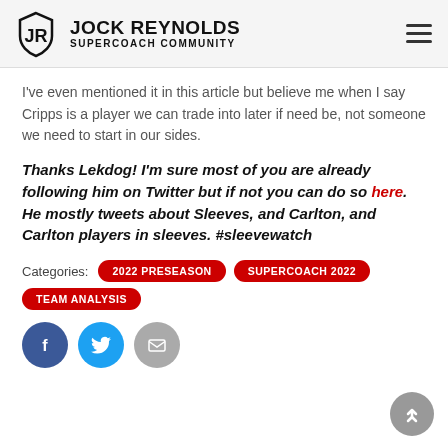JOCK REYNOLDS SUPERCOACH COMMUNITY
I've even mentioned it in this article but believe me when I say Cripps is a player we can trade into later if need be, not someone we need to start in our sides.
Thanks Lekdog! I'm sure most of you are already following him on Twitter but if not you can do so here. He mostly tweets about Sleeves, and Carlton, and Carlton players in sleeves. #sleevewatch
Categories: 2022 PRESEASON   SUPERCOACH 2022   TEAM ANALYSIS